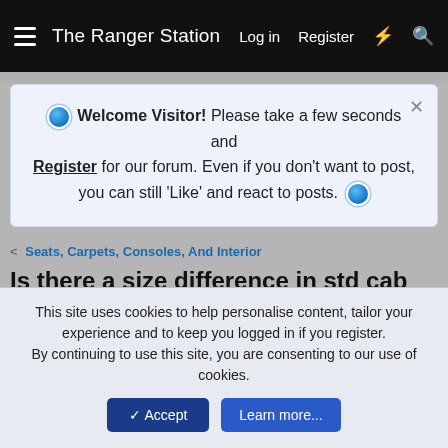The Ranger Station   Log in   Register
Welcome Visitor! Please take a few seconds and Register for our forum. Even if you don't want to post, you can still 'Like' and react to posts.
< Seats, Carpets, Consoles, And Interior
Is there a size difference in std cab and ext cab seat dimensions?
corerftech · Jan 21, 2022
corerftech
Active Member
This site uses cookies to help personalise content, tailor your experience and to keep you logged in if you register.
By continuing to use this site, you are consenting to our use of cookies.
Accept   Learn more...